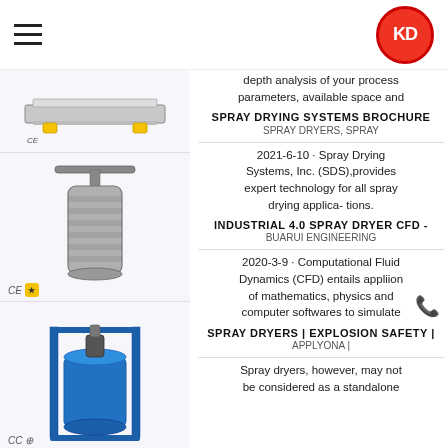KD logo and hamburger menu
[Figure (photo): Industrial equipment - flat tray/conveyor device with yellow feet, CE mark visible]
[Figure (photo): Stainless steel cylindrical pressure vessel with T-bar handle, CE mark and gold certification badge]
[Figure (photo): Blue industrial spray dryer unit on frame with mixing vessel, CE mark]
[Figure (photo): Blue industrial reactor/spray dryer unit with gauges and fittings]
depth analysis of your process parameters, available space and
SPRAY DRYING SYSTEMS BROCHURE
SPRAY DRYERS, SPRAY
2021-6-10 · Spray Drying Systems, Inc. (SDS),provides expert technology for all spray drying applica- tions.
INDUSTRIAL 4.0 SPRAY DRYER CFD -
BUARUI ENGINEERING
2020-3-9 · Computational Fluid Dynamics (CFD) entails appliion of mathematics, physics and computer softwares to simulate
SPRAY DRYERS | EXPLOSION SAFETY |
APPLYONA |
Spray dryers, however, may not be considered as a standalone